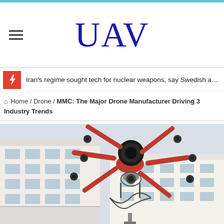UAV
Iran's regime sought tech for nuclear weapons, say Swedish a…
Home / Drone / MMC: The Major Drone Manufacturer Driving 3 Industry Trends
[Figure (photo): Red multi-rotor drone (octocopter) in flight against a background of a building, with a black camera gimbal mounted underneath]